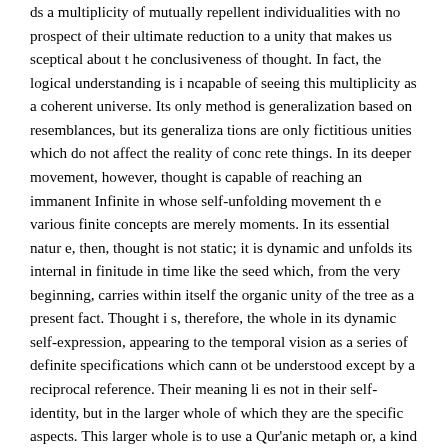ds a multiplicity of mutually repellent individualities with no prospect of their ultimate reduction to a unity that makes us sceptical about the conclusiveness of thought. In fact, the logical understanding is incapable of seeing this multiplicity as a coherent universe. Its only method is generalization based on resemblances, but its generalizations are only fictitious unities which do not affect the reality of concrete things. In its deeper movement, however, thought is capable of reaching an immanent Infinite in whose self-unfolding movement the various finite concepts are merely moments. In its essential nature, then, thought is not static; it is dynamic and unfolds its internal infinitude in time like the seed which, from the very beginning, carries within itself the organic unity of the tree as a present fact. Thought is, therefore, the whole in its dynamic self-expression, appearing to the temporal vision as a series of definite specifications which cannot be understood except by a reciprocal reference. Their meaning lies not in their self-identity, but in the larger whole of which they are the specific aspects. This larger whole is to use a Qur'anic metaphor, a kind of 'Preserved Tablet',17 which holds up the entire undetermined possibilities of knowledge as a present reality, revealing itself in serial time as a succession of finite concepts appearing to reach a unity which is already present in them. It is in fact the presence of the total Infinite in the movement of knowledge that makes finite t